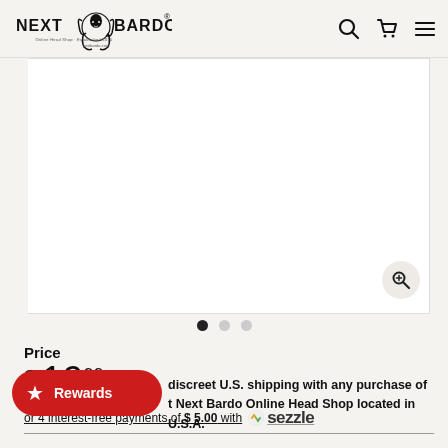[Figure (logo): Next Bardo Online Head Shop logo with decorative woman figure with flowing hair]
[Figure (screenshot): Product image carousel with white background image panel, zoom icon in bottom right, navigation dots below]
Price
$ 19.99
or 4 interest-free payments of $ 5.00 with Sezzle
Rewards
discreet U.S. shipping with any purchase of t Next Bardo Online Head Shop located in U.S.A.